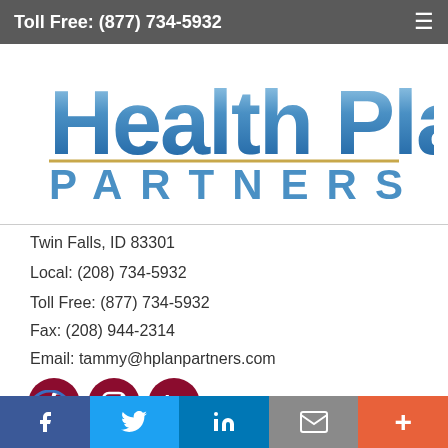Toll Free: (877) 734-5932
[Figure (logo): Health Plan Partners logo with blue gradient text and gold underline accent]
Twin Falls, ID 83301
Local: (208) 734-5932
Toll Free: (877) 734-5932
Fax: (208) 944-2314
Email: tammy@hplanpartners.com
[Figure (illustration): Three dark red circular social media icons: Facebook (f), Instagram (camera), LinkedIn (in)]
© Copyright. All rights reserved.
Facebook | Twitter | LinkedIn | Mail | More